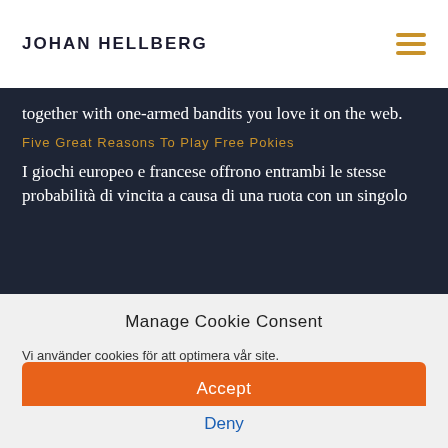JOHAN HELLBERG
together with one-armed bandits you love it on the web.
Five Great Reasons To Play Free Pokies
I giochi europeo e francese offrono entrambi le stesse probabilità di vincita a causa di una ruota con un singolo
Manage Cookie Consent
Vi använder cookies för att optimera vår site.
Accept
Deny
Inställningar